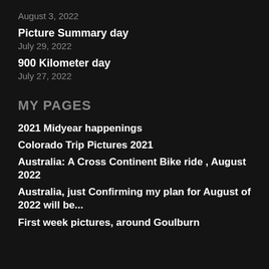August 3, 2022
Picture Summary day
July 29, 2022
900 Kilometer day
July 27, 2022
MY PAGES
2021 Midyear happenings
Colorado Trip Pictures 2021
Australia: A Cross Continent Bike ride , August 2022
Australia, just Confirming my plan for August of 2022 will be...
First week pictures, around Goulburn